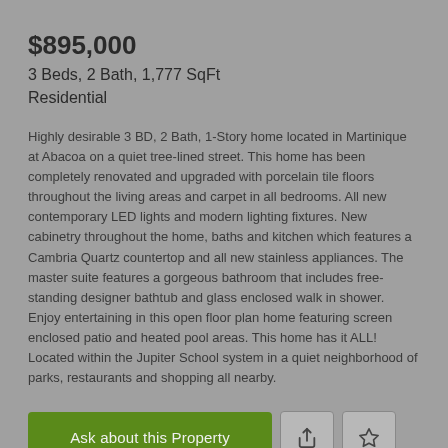$895,000
3 Beds, 2 Bath, 1,777 SqFt
Residential
Highly desirable 3 BD, 2 Bath, 1-Story home located in Martinique at Abacoa on a quiet tree-lined street. This home has been completely renovated and upgraded with porcelain tile floors throughout the living areas and carpet in all bedrooms. All new contemporary LED lights and modern lighting fixtures. New cabinetry throughout the home, baths and kitchen which features a Cambria Quartz countertop and all new stainless appliances. The master suite features a gorgeous bathroom that includes free-standing designer bathtub and glass enclosed walk in shower. Enjoy entertaining in this open floor plan home featuring screen enclosed patio and heated pool areas. This home has it ALL! Located within the Jupiter School system in a quiet neighborhood of parks, restaurants and shopping all nearby.